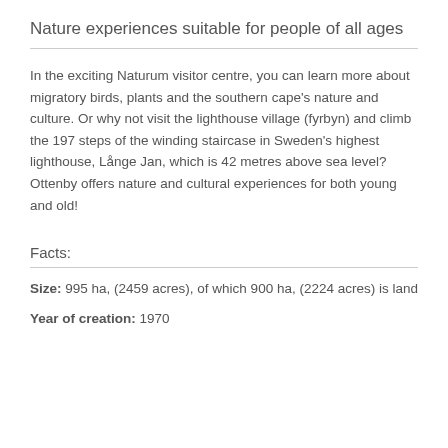Nature experiences suitable for people of all ages
In the exciting Naturum visitor centre, you can learn more about migratory birds, plants and the southern cape's nature and culture. Or why not visit the lighthouse village (fyrbyn) and climb the 197 steps of the winding staircase in Sweden's highest lighthouse, Långe Jan, which is 42 metres above sea level? Ottenby offers nature and cultural experiences for both young and old!
Facts:
Size: 995 ha, (2459 acres), of which 900 ha, (2224 acres) is land
Year of creation: 1970